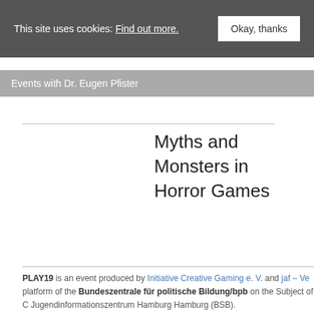This site uses cookies: Find out more. Okay, thanks
Events with Dr. Eugen Pfister
Myths and Monsters in Horror Games
PLAY19 is an event produced by Initiative Creative Gaming e. V. and jaf – Ve platform of the Bundeszentrale für politische Bildung/bpb on the Subject of C Jugendinformationszentrum Hamburg Hamburg (BSB).